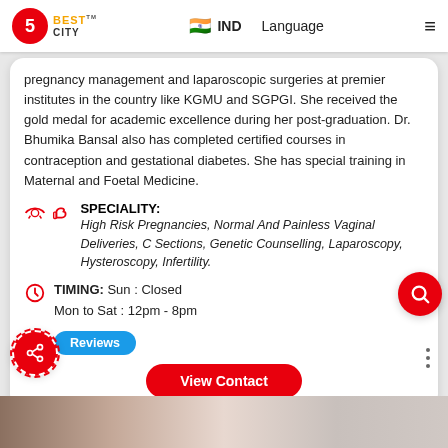5 BEST CITY | IND | Language
pregnancy management and laparoscopic surgeries at premier institutes in the country like KGMU and SGPGI. She received the gold medal for academic excellence during her post-graduation. Dr. Bhumika Bansal also has completed certified courses in contraception and gestational diabetes. She has special training in Maternal and Foetal Medicine.
SPECIALITY:
High Risk Pregnancies, Normal And Painless Vaginal Deliveries, C Sections, Genetic Counselling, Laparoscopy, Hysteroscopy, Infertility.
TIMING: Sun : Closed
Mon to Sat : 12pm - 8pm
Reviews
View Contact
[Figure (photo): Bottom strip photo of a medical/clinic setting]